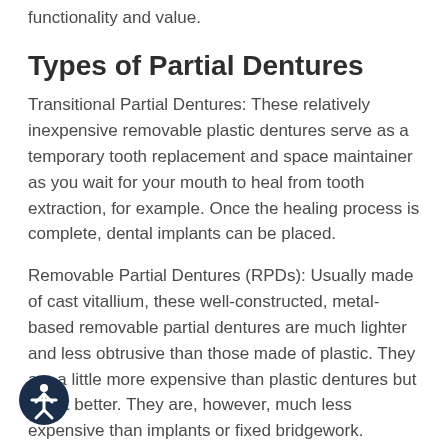functionality and value.
Types of Partial Dentures
Transitional Partial Dentures: These relatively inexpensive removable plastic dentures serve as a temporary tooth replacement and space maintainer as you wait for your mouth to heal from tooth extraction, for example. Once the healing process is complete, dental implants can be placed.
Removable Partial Dentures (RPDs): Usually made of cast vitallium, these well-constructed, metal-based removable partial dentures are much lighter and less obtrusive than those made of plastic. They are a little more expensive than plastic dentures but will fit better. They are, however, much less expensive than implants or fixed bridgework.